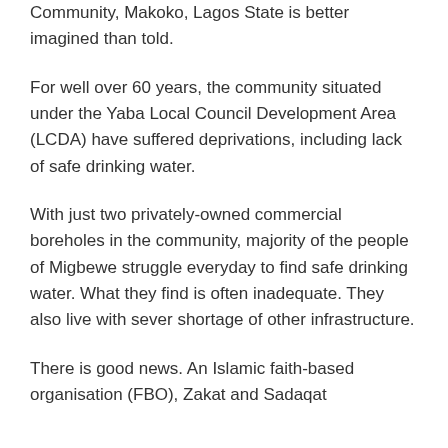Community, Makoko, Lagos State is better imagined than told.
For well over 60 years, the community situated under the Yaba Local Council Development Area (LCDA) have suffered deprivations, including lack of safe drinking water.
With just two privately-owned commercial boreholes in the community, majority of the people of Migbewe struggle everyday to find safe drinking water. What they find is often inadequate. They also live with sever shortage of other infrastructure.
There is good news. An Islamic faith-based organisation (FBO), Zakat and Sadaqat